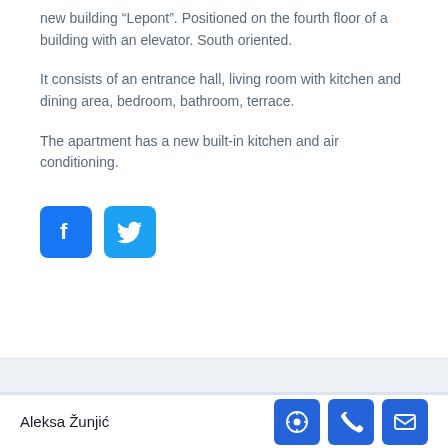new building “Lepont”. Positioned on the fourth floor of a building with an elevator. South oriented.
It consists of an entrance hall, living room with kitchen and dining area, bedroom, bathroom, terrace.
The apartment has a new built-in kitchen and air conditioning.
[Figure (other): Facebook and Twitter social media share icons (blue rounded square buttons)]
Property Address
Aleksa Žunjić